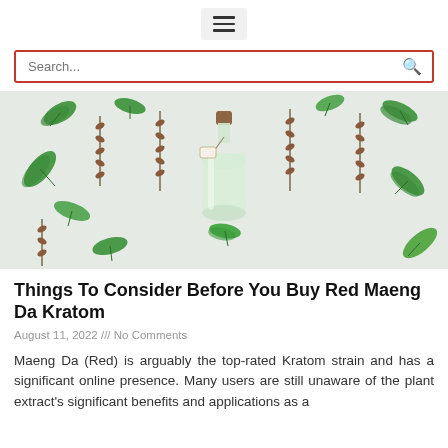≡
Search...
[Figure (photo): Flat lay of green herb leaves and small brown dried herb stems arranged around a clear glass bottle with a cork stopper and a small tag, all on a white linen background.]
Things To Consider Before You Buy Red Maeng Da Kratom
August 11, 2022 /// No Comments
Maeng Da (Red) is arguably the top-rated Kratom strain and has a significant online presence. Many users are still unaware of the plant extract's significant benefits and applications as a